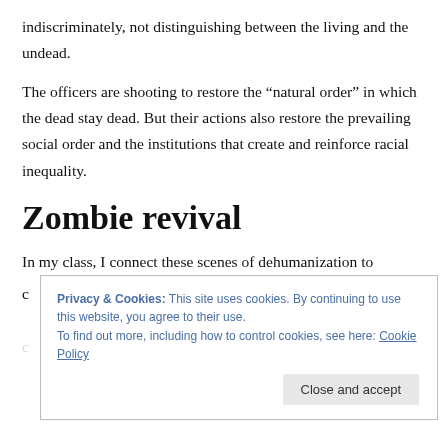indiscriminately, not distinguishing between the living and the undead.
The officers are shooting to restore the “natural order” in which the dead stay dead. But their actions also restore the prevailing social order and the institutions that create and reinforce racial inequality.
Zombie revival
In my class, I connect these scenes of dehumanization to
Privacy & Cookies: This site uses cookies. By continuing to use this website, you agree to their use.
To find out more, including how to control cookies, see here: Cookie Policy